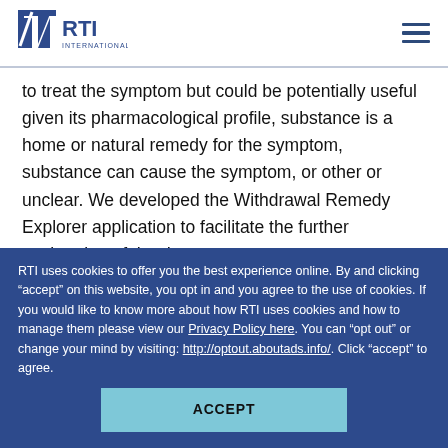RTI International
to treat the symptom but could be potentially useful given its pharmacological profile, substance is a home or natural remedy for the symptom, substance can cause the symptom, or other or unclear. We developed the Withdrawal Remedy Explorer application to facilitate the further exploration of the data.
RESULTS: Our named entity recognition model achieved
RTI uses cookies to offer you the best experience online. By and clicking “accept” on this website, you opt in and you agree to the use of cookies. If you would like to know more about how RTI uses cookies and how to manage them please view our Privacy Policy here. You can “opt out” or change your mind by visiting: http://optout.aboutads.info/. Click “accept” to agree.